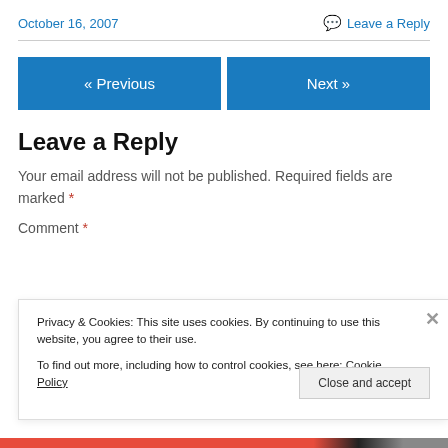October 16, 2007
Leave a Reply
« Previous
Next »
Leave a Reply
Your email address will not be published. Required fields are marked *
Comment *
Privacy & Cookies: This site uses cookies. By continuing to use this website, you agree to their use.
To find out more, including how to control cookies, see here: Cookie Policy
Close and accept